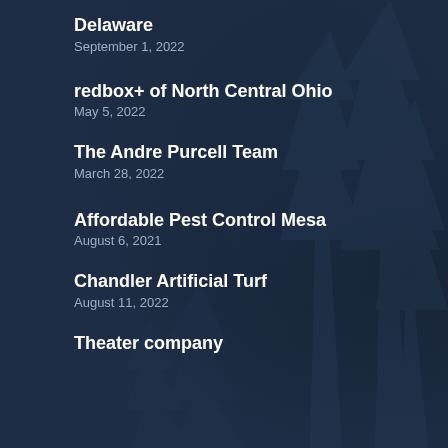Delaware
September 1, 2022
redbox+ of North Central Ohio
May 5, 2022
The Andre Purcell Team
March 28, 2022
Affordable Pest Control Mesa
August 6, 2021
Chandler Artificial Turf
August 11, 2022
Theater company